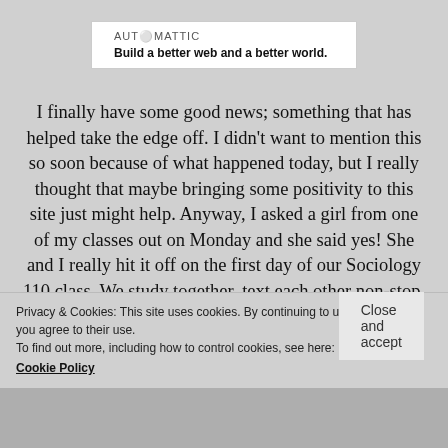[Figure (logo): Automattic logo with tagline 'Build a better web and a better world.']
I finally have some good news; something that has helped take the edge off. I didn't want to mention this so soon because of what happened today, but I really thought that maybe bringing some positivity to this site just might help. Anyway, I asked a girl from one of my classes out on Monday and she said yes! She and I really hit it off on the first day of our Sociology 110 class. We study together, text each other non-stop, and now I just finally gathered up enough courage to
Privacy & Cookies: This site uses cookies. By continuing to use this website, you agree to their use.
To find out more, including how to control cookies, see here:
Cookie Policy
Close and accept